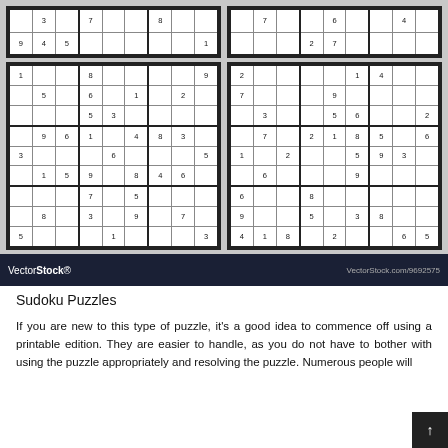[Figure (other): Four Sudoku puzzles arranged in a 2x2 grid on a grey marble background]
VectorStock® VectorStock.com/9692575
Sudoku Puzzles
If you are new to this type of puzzle, it's a good idea to commence off using a printable edition. They are easier to handle, as you do not have to bother with using the puzzle appropriately and resolving the puzzle. Numerous people will